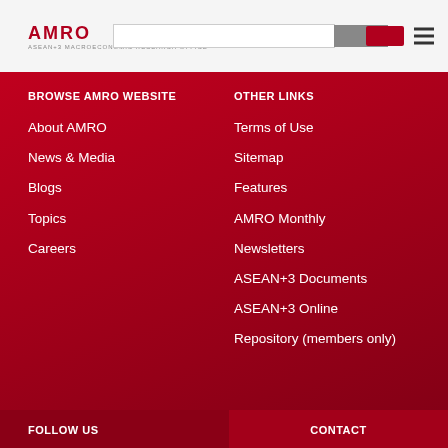[Figure (logo): AMRO logo with red stylized text and small subtitle text]
BROWSE AMRO WEBSITE
OTHER LINKS
About AMRO
News & Media
Blogs
Topics
Careers
Terms of Use
Sitemap
Features
AMRO Monthly
Newsletters
ASEAN+3 Documents
ASEAN+3 Online
Repository (members only)
FOLLOW US
CONTACT